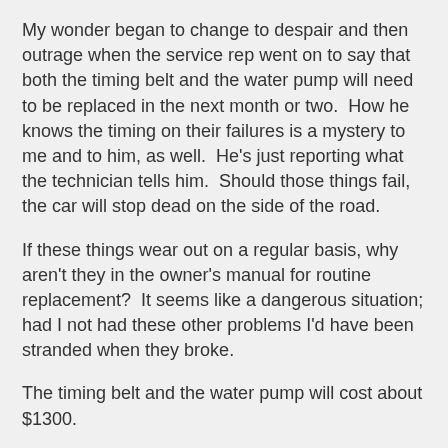My wonder began to change to despair and then outrage when the service rep went on to say that both the timing belt and the water pump will need to be replaced in the next month or two.  How he knows the timing on their failures is a mystery to me and to him, as well.  He's just reporting what the technician tells him.  Should those things fail, the car will stop dead on the side of the road.
If these things wear out on a regular basis, why aren't they in the owner's manual for routine replacement?  It seems like a dangerous situation; had I not had these other problems I'd have been stranded when they broke.
The timing belt and the water pump will cost about $1300.
Including the routine oil changes and various fluid fill-ups and minor adjustments recommended by the company, I'm closing in on $6000 in repairs this calendar year alone.  The car is worth about $6500, according to Kelly Blue Book.
I'm contacting VW's North American representatives to talk